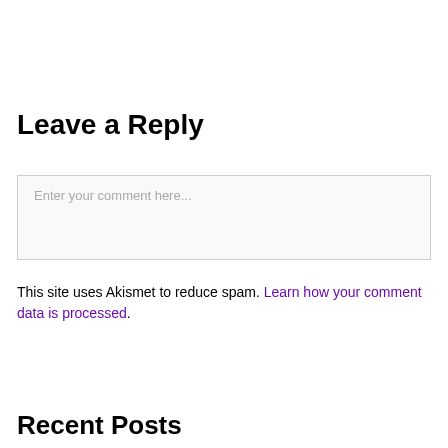Leave a Reply
[Figure (other): Comment text input box with placeholder text 'Enter your comment here...']
This site uses Akismet to reduce spam. Learn how your comment data is processed.
Recent Posts